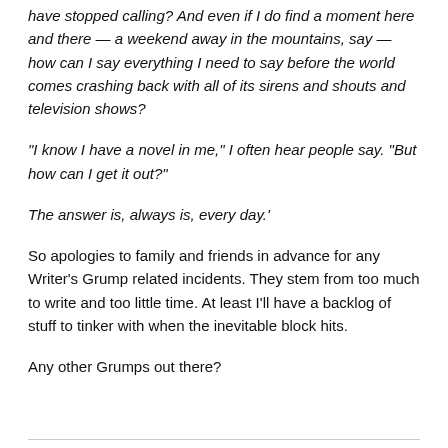have stopped calling? And even if I do find a moment here and there — a weekend away in the mountains, say — how can I say everything I need to say before the world comes crashing back with all of its sirens and shouts and television shows?
“I know I have a novel in me,” I often hear people say. “But how can I get it out?”
The answer is, always is, every day.’
So apologies to family and friends in advance for any Writer’s Grump related incidents. They stem from too much to write and too little time. At least I’ll have a backlog of stuff to tinker with when the inevitable block hits.
Any other Grumps out there?